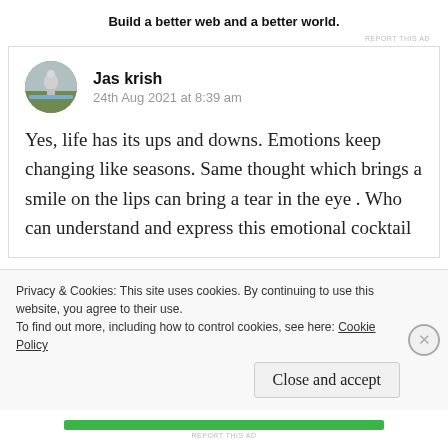Build a better web and a better world.
REPORT THIS AD
Jas krish
24th Aug 2021 at 8:39 am
Yes, life has its ups and downs. Emotions keep changing like seasons. Same thought which brings a smile on the lips can bring a tear in the eye . Who can understand and express this emotional cocktail
Privacy & Cookies: This site uses cookies. By continuing to use this website, you agree to their use.
To find out more, including how to control cookies, see here: Cookie Policy
Close and accept
REPORT THIS AD